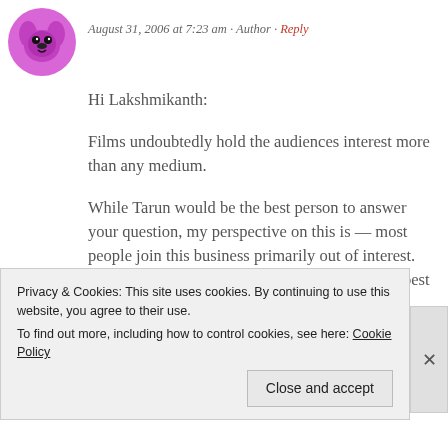[Figure (photo): Circular avatar image with magenta/pink dog illustration]
August 31, 2006 at 7:23 am · Author · Reply
Hi Lakshmikanth:
Films undoubtedly hold the audiences interest more than any medium.
While Tarun would be the best person to answer your question, my perspective on this is — most people join this business primarily out of interest. With due respect to YRF, they might not be the best pay masters! Certainly nowhere in the same
Privacy & Cookies: This site uses cookies. By continuing to use this website, you agree to their use. To find out more, including how to control cookies, see here: Cookie Policy
Close and accept